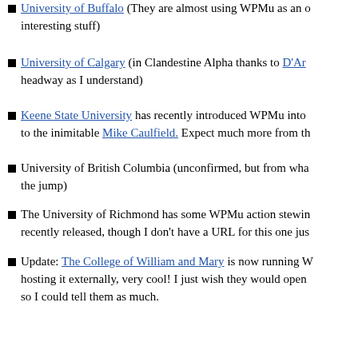University of Buffalo (They are almost using WPMu as an interesting stuff)
University of Calgary (in Clandestine Alpha thanks to D'Ar headway as I understand)
Keene State University has recently introduced WPMu into to the inimitable Mike Caulfield. Expect much more from th
University of British Columbia (unconfirmed, but from wha the jump)
The University of Richmond has some WPMu action stewin recently released, though I don't have a URL for this one jus
Update: The College of William and Mary is now running W hosting it externally, very cool! I just wish they would open so I could tell them as much.
So, between Mario's list and mine, are we ready to have an info talking about what we're doing with WPMU in the educational one language…
Hey, we might even have a panel at Northern Voice 2008…